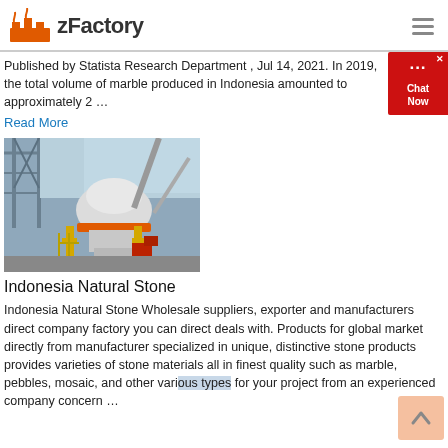zFactory
Published by Statista Research Department , Jul 14, 2021. In 2019, the total volume of marble produced in Indonesia amounted to approximately 2 …
Read More
[Figure (photo): Industrial stone crushing/processing machinery at a factory site with steel framework and conveyor belts]
Indonesia Natural Stone
Indonesia Natural Stone Wholesale suppliers, exporter and manufacturers direct company factory you can direct deals with. Products for global market directly from manufacturer specialized in unique, distinctive stone products provides varieties of stone materials all in finest quality such as marble, pebbles, mosaic, and other various types for your project from an experienced company concern …
Read More